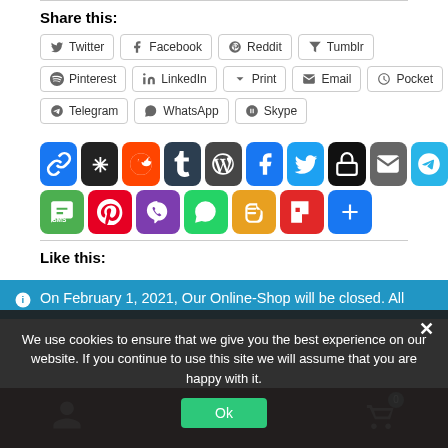Share this:
Twitter, Facebook, Reddit, Tumblr
Pinterest, LinkedIn, Print, Email, Pocket
Telegram, WhatsApp, Skype
[Figure (infographic): Grid of social media sharing icon buttons including: link, Digg, Reddit, Tumblr, WordPress, Facebook, Twitter, private lock, email, Telegram (top row); SMS, Pinterest, Viber, WhatsApp, Blogger, Flipboard, share-more (bottom row)]
Like this:
On February 1, 2021, Our Online-Shop will be closed. All orders until January 31 will be delivered
Dismiss
We use cookies to ensure that we give you the best experience on our website. If you continue to use this site we will assume that you are happy with it.
Ok